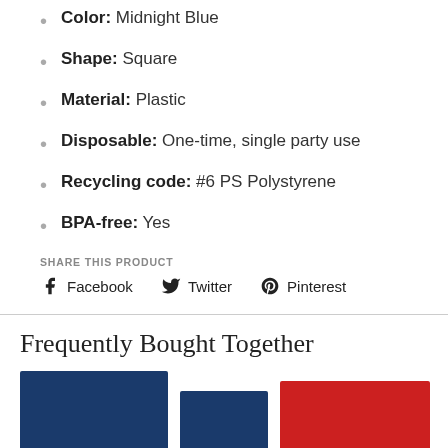Color: Midnight Blue
Shape: Square
Material: Plastic
Disposable: One-time, single party use
Recycling code: #6 PS Polystyrene
BPA-free: Yes
SHARE THIS PRODUCT
Facebook  Twitter  Pinterest
Frequently Bought Together
[Figure (photo): Three product images: two navy blue square plates and one red square plate at bottom of page]